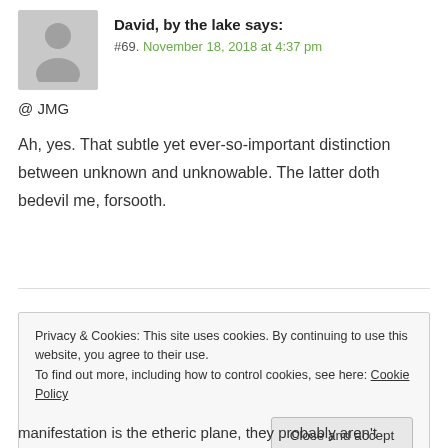David, by the lake says:
#69. November 18, 2018 at 4:37 pm
@ JMG
Ah, yes. That subtle yet ever-so-important distinction between unknown and unknowable. The latter doth bedevil me, forsooth.
Privacy & Cookies: This site uses cookies. By continuing to use this website, you agree to their use.
To find out more, including how to control cookies, see here: Cookie Policy
Close and accept
manifestation is the etheric plane, they probably aren't